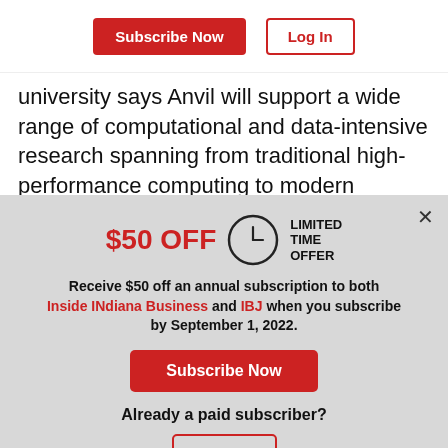[Figure (screenshot): Top navigation bar with Subscribe Now (red) and Log In (outlined) buttons]
university says Anvil will support a wide range of computational and data-intensive research spanning from traditional high-performance computing to modern artificial intelligence
$50 OFF LIMITED TIME OFFER
Receive $50 off an annual subscription to both Inside INdiana Business and IBJ when you subscribe by September 1, 2022.
Subscribe Now
Already a paid subscriber?
Log In